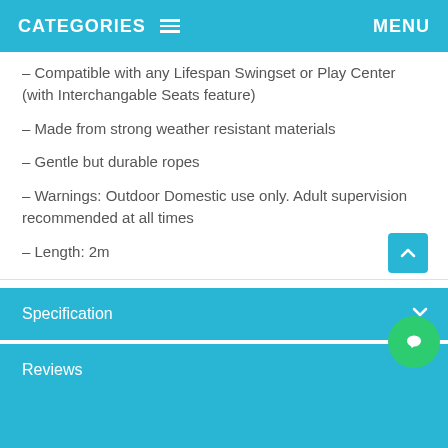CATEGORIES   MENU
– Compatible with any Lifespan Swingset or Play Center (with Interchangable Seats feature)
– Made from strong weather resistant materials
– Gentle but durable ropes
– Warnings: Outdoor Domestic use only. Adult supervision recommended at all times
– Length: 2m
– Width: 30cm
– Recommended age 36+ months
Specification
Reviews